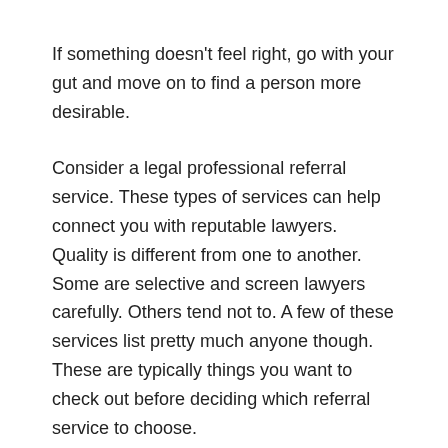If something doesn't feel right, go with your gut and move on to find a person more desirable.
Consider a legal professional referral service. These types of services can help connect you with reputable lawyers. Quality is different from one to another. Some are selective and screen lawyers carefully. Others tend not to. A few of these services list pretty much anyone though. These are typically things you want to check out before deciding which referral service to choose.
If you're hoping to get a lawyer, make certain that they're a specialist from the case type you're coping with. Attorneys specialize in everything from property to criminal law and else in the middle. Researching this part of a lawyer's profile beforehand can keep you from wasting a lot of time.
Regardless of your basis for needing a legal professional, you've reached prepare yourself. Utilizing the advice from this article will